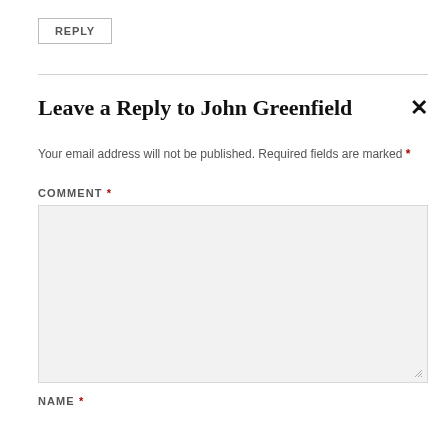REPLY
Leave a Reply to John Greenfield
Your email address will not be published. Required fields are marked *
COMMENT *
[Figure (other): Empty comment textarea input box with light gray background and resize handle]
NAME *